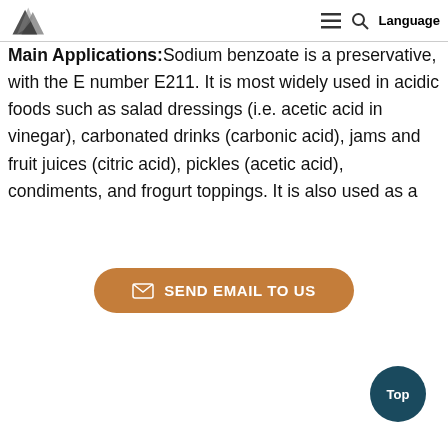≡ 🔍 Language
Main Applications:Sodium benzoate is a preservative, with the E number E211. It is most widely used in acidic foods such as salad dressings (i.e. acetic acid in vinegar), carbonated drinks (carbonic acid), jams and fruit juices (citric acid), pickles (acetic acid), condiments, and frogurt toppings. It is also used as a
[Figure (other): Send Email To Us button (brown/orange rounded rectangle with envelope icon)]
[Figure (other): Top button (dark teal circle with 'Top' text)]